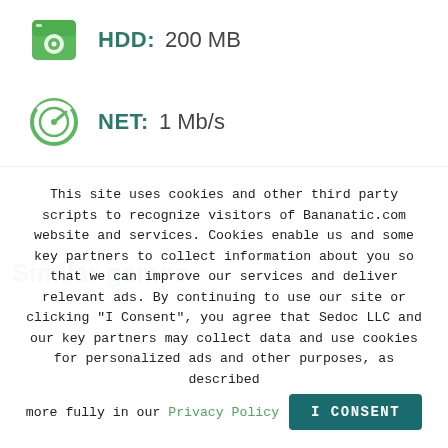[Figure (illustration): Green HDD/disk icon]
HDD:  200 MB
[Figure (illustration): Green speedometer/network icon]
NET:  1 Mb/s
Similar games
This site uses cookies and other third party scripts to recognize visitors of Bananatic.com website and services. Cookies enable us and some key partners to collect information about you so that we can improve our services and deliver relevant ads. By continuing to use our site or clicking "I Consent", you agree that Sedoc LLC and our key partners may collect data and use cookies for personalized ads and other purposes, as described more fully in our Privacy Policy
I CONSENT